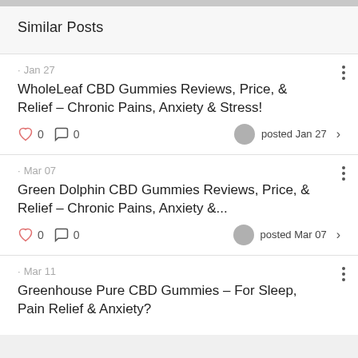Similar Posts
· Jan 27
WholeLeaf CBD Gummies Reviews, Price, & Relief – Chronic Pains, Anxiety & Stress!
❤ 0  💬 0   posted Jan 27 >
· Mar 07
Green Dolphin CBD Gummies Reviews, Price, & Relief – Chronic Pains, Anxiety &...
❤ 0  💬 0   posted Mar 07 >
· Mar 11
Greenhouse Pure CBD Gummies – For Sleep, Pain Relief & Anxiety?